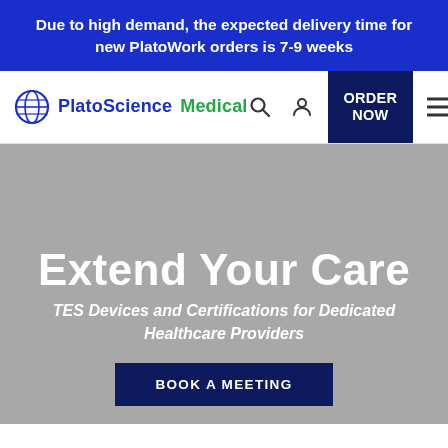Due to high demand, the expected delivery time for new PlatoWork orders is 7-9 weeks
PlatoScience Medical
Extend Your Care
TES Devices and Certifications for Dedicated Healthcare Providers
BOOK A MEETING